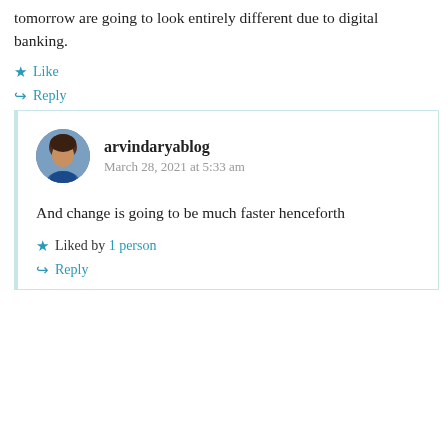tomorrow are going to look entirely different due to digital banking.
Like
Reply
arvindaryablog
March 28, 2021 at 5:33 am
And change is going to be much faster henceforth
Liked by 1 person
Reply